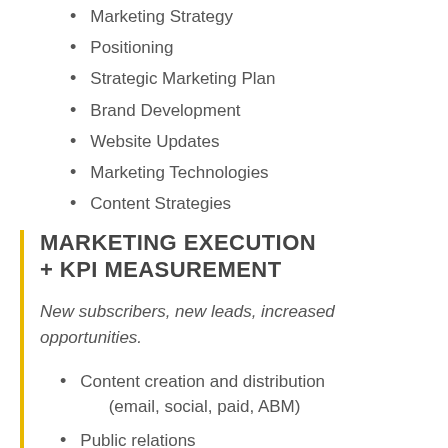Marketing Strategy
Positioning
Strategic Marketing Plan
Brand Development
Website Updates
Marketing Technologies
Content Strategies
MARKETING EXECUTION + KPI MEASUREMENT
New subscribers, new leads, increased opportunities.
Content creation and distribution (email, social, paid, ABM)
Public relations
Sales collateral